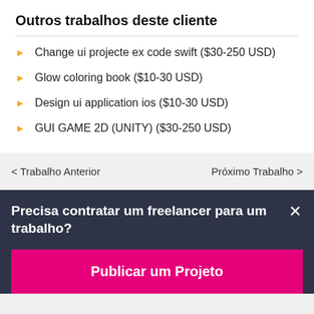Outros trabalhos deste cliente
Change ui projecte ex code swift ($30-250 USD)
Glow coloring book ($10-30 USD)
Design ui application ios ($10-30 USD)
GUI GAME 2D (UNITY) ($30-250 USD)
< Trabalho Anterior
Próximo Trabalho >
Precisa contratar um freelancer para um trabalho?
Publicar um Projeto